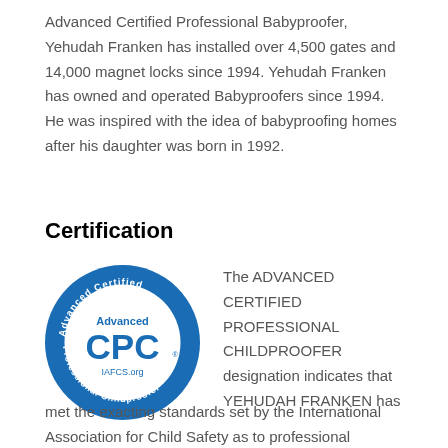Advanced Certified Professional Babyproofer, Yehudah Franken has installed over 4,500 gates and 14,000 magnet locks since 1994. Yehudah Franken has owned and operated Babyproofers since 1994. He was inspired with the idea of babyproofing homes after his daughter was born in 1992.
Certification
[Figure (logo): Advanced Certified Professional Childproofer seal — circular blue badge with text 'Advanced Certified Professional Childproofer' around the edge, 'Advanced CPC IAFCS.org' in the center]
The ADVANCED CERTIFIED PROFESSIONAL CHILDPROOFER designation indicates that YEHUDAH FRANKEN has met the exacting standards set by the International Association for Child Safety as to professional